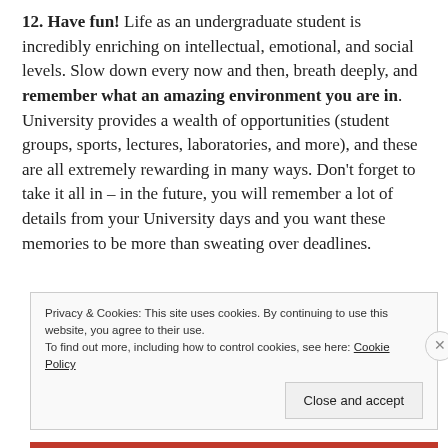12. Have fun!  Life as an undergraduate student is incredibly enriching on intellectual, emotional, and social levels.  Slow down every now and then, breath deeply, and remember what an amazing environment you are in. University provides a wealth of opportunities (student groups, sports, lectures, laboratories, and more), and these are all extremely rewarding in many ways.  Don't forget to take it all in – in the future, you will remember a lot of details from your University days and you want these memories to be more than sweating over deadlines.
Privacy & Cookies: This site uses cookies. By continuing to use this website, you agree to their use. To find out more, including how to control cookies, see here: Cookie Policy